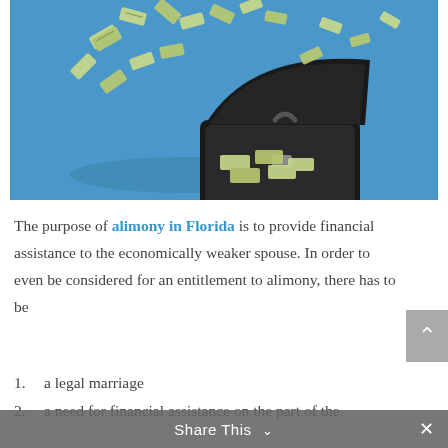[Figure (photo): Briefcase open with money bills flying out against a blue background]
The purpose of alimony in Florida is to provide financial assistance to the economically weaker spouse. In order to even be considered for an entitlement to alimony, there has to be
a legal marriage
a need for financial assistance on the part of the
Share This ∨  ×